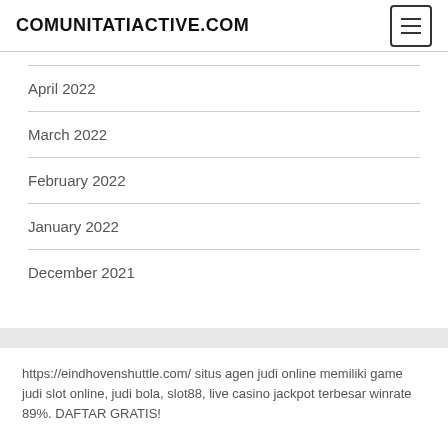COMUNITATIACTIVE.COM
April 2022
March 2022
February 2022
January 2022
December 2021
https://eindhovenshuttle.com/ situs agen judi online memiliki game judi slot online, judi bola, slot88, live casino jackpot terbesar winrate 89%. DAFTAR GRATIS!